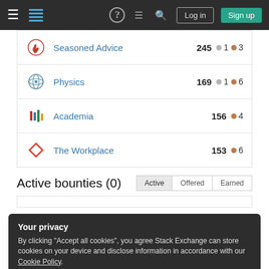Stack Exchange navigation bar with Log in and Sign up buttons
Seasoned Advice 245 ● 1 ● 3
Physics 169 ● 1 ● 6
Academia 156 ● 4
The Workplace 153 ● 6
Active bounties (0)
Your privacy
By clicking "Accept all cookies", you agree Stack Exchange can store cookies on your device and disclose information in accordance with our Cookie Policy.
Accept all cookies   Customize settings
15 upvotes   3 downvotes   3 question votes   17 answer votes